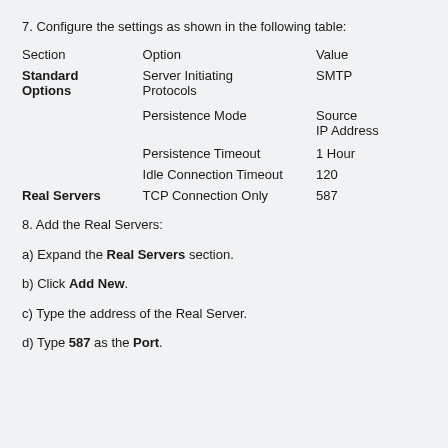7. Configure the settings as shown in the following table:
| Section | Option | Value |
| --- | --- | --- |
| Standard Options | Server Initiating Protocols | SMTP |
|  | Persistence Mode | Source IP Address |
|  | Persistence Timeout | 1 Hour |
|  | Idle Connection Timeout | 120 |
| Real Servers | TCP Connection Only | 587 |
8. Add the Real Servers:
a) Expand the Real Servers section.
b) Click Add New.
c) Type the address of the Real Server.
d) Type 587 as the Port.